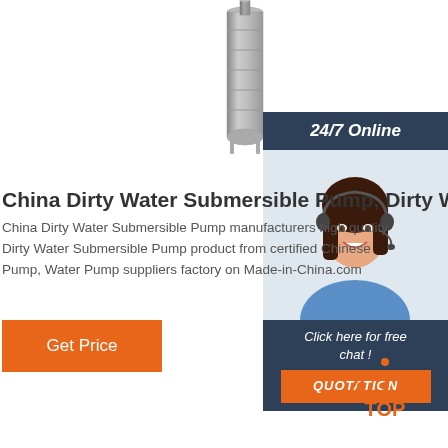[Figure (photo): Cylindrical stainless steel submersible pump product photo, top center of page]
[Figure (photo): 24/7 Online chat widget with photo of smiling woman wearing headset, dark blue header, click here for free chat text, and orange QUOTATION button]
China Dirty Water Submersible Pump, Dirty Wa
China Dirty Water Submersible Pump manufacturers high quality Dirty Water Submersible Pump product from certified Chinese Pump, Water Pump suppliers factory on Made-in-China.com
[Figure (other): Orange Get Price button]
[Figure (logo): Orange TOP back-to-top icon with dots arranged in triangle shape above the word TOP]